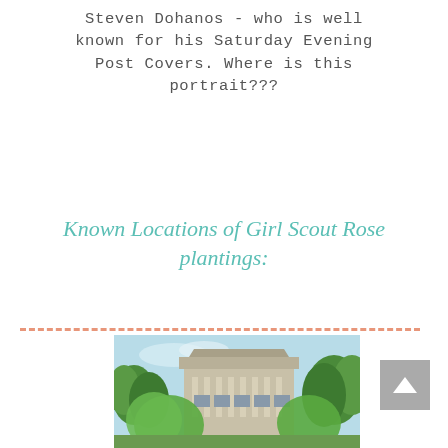Steven Dohanos - who is well known for his Saturday Evening Post Covers. Where is this portrait???
Known Locations of Girl Scout Rose plantings:
[Figure (photo): Vintage postcard-style photo of a large neoclassical building (likely a courthouse or government building) surrounded by green trees under a light blue sky.]